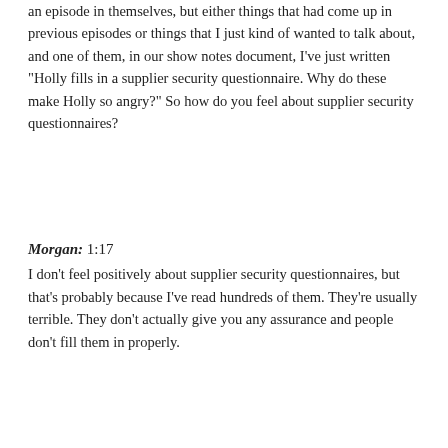an episode in themselves, but either things that had come up in previous episodes or things that I just kind of wanted to talk about, and one of them, in our show notes document, I've just written "Holly fills in a supplier security questionnaire. Why do these make Holly so angry?" So how do you feel about supplier security questionnaires?
Morgan: 1:17
I don't feel positively about supplier security questionnaires, but that's probably because I've read hundreds of them. They're usually terrible. They don't actually give you any assurance and people don't fill them in properly.